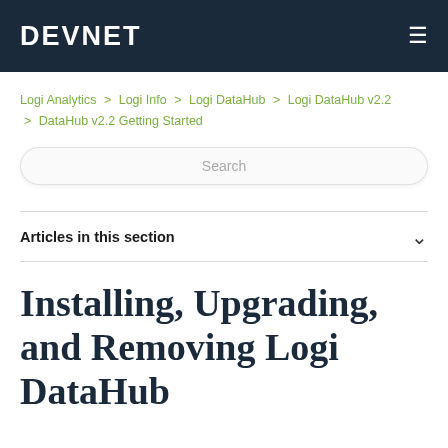DEVNET
Logi Analytics > Logi Info > Logi DataHub > Logi DataHub v2.2 > DataHub v2.2 Getting Started
Search
Articles in this section
Installing, Upgrading, and Removing Logi DataHub